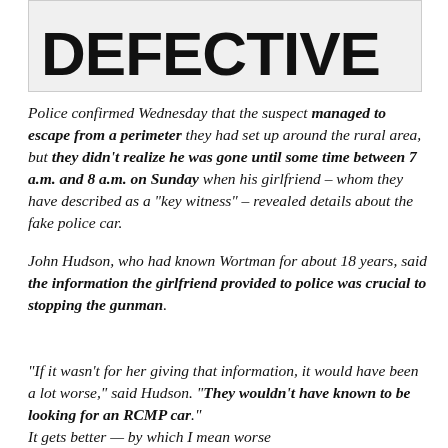[Figure (photo): Partial image showing large bold text 'DEFECTIVE' with what appears to be a photo of a person partially visible on the right side]
Police confirmed Wednesday that the suspect managed to escape from a perimeter they had set up around the rural area, but they didn't realize he was gone until some time between 7 a.m. and 8 a.m. on Sunday when his girlfriend – whom they have described as a "key witness" – revealed details about the fake police car.
John Hudson, who had known Wortman for about 18 years, said the information the girlfriend provided to police was crucial to stopping the gunman.
“If it wasn’t for her giving that information, it would have been a lot worse,” said Hudson. “They wouldn’t have known to be looking for an RCMP car.”
It gets better — by which I mean worse